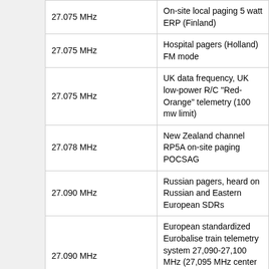|  | Frequency | Description |
| --- | --- | --- |
|  | 27.075 MHz | On-site local paging 5 watt ERP (Finland) |
|  | 27.075 MHz | Hospital pagers (Holland) FM mode |
|  | 27.075 MHz | UK data frequency, UK low-power R/C "Red-Orange" telemetry (100 mw limit) |
|  | 27.078 MHz | New Zealand channel RP5A on-site paging POCSAG |
|  | 27.090 MHz | Russian pagers, heard on Russian and Eastern European SDRs |
|  | 27.090 MHz | European standardized Eurobalise train telemetry system 27,090-27,100 MHz (27,095 MHz center frequency, system 27.09 MHz-27.1 MHz) |
|  | 27.095 MHz | Data link, paging systems and pagers, worldwide - also used for R/C purposes "Channel 11A" |